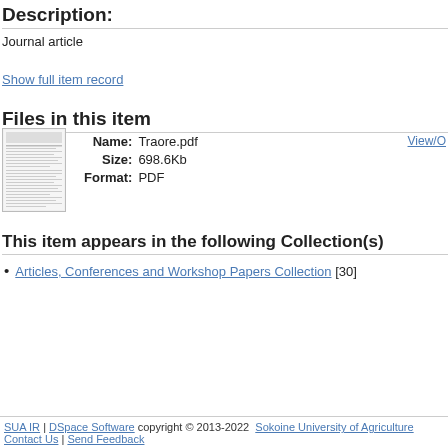Description:
Journal article
Show full item record
Files in this item
Name: Traore.pdf  Size: 698.6Kb  Format: PDF
View/O
This item appears in the following Collection(s)
Articles, Conferences and Workshop Papers Collection [30]
SUA IR | DSpace Software copyright © 2013-2022  Sokoine University of Agriculture
Contact Us | Send Feedback